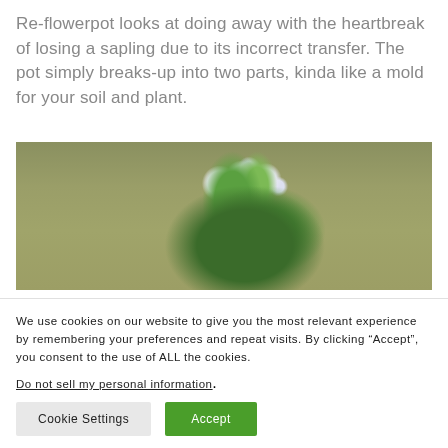Re-flowerpot looks at doing away with the heartbreak of losing a sapling due to its incorrect transfer. The pot simply breaks-up into two parts, kinda like a mold for your soil and plant.
[Figure (photo): A flowering plant with white flowers growing on a green grassy background]
We use cookies on our website to give you the most relevant experience by remembering your preferences and repeat visits. By clicking “Accept”, you consent to the use of ALL the cookies.
Do not sell my personal information.